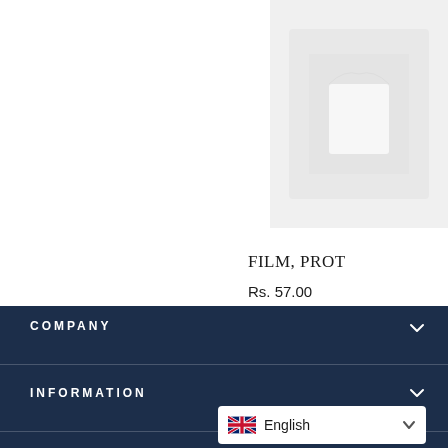[Figure (photo): Product image of a white garment/t-shirt partially visible in the top-right corner of the page]
FILM, PROT
Rs. 57.00
COMPANY
INFORMATION
English